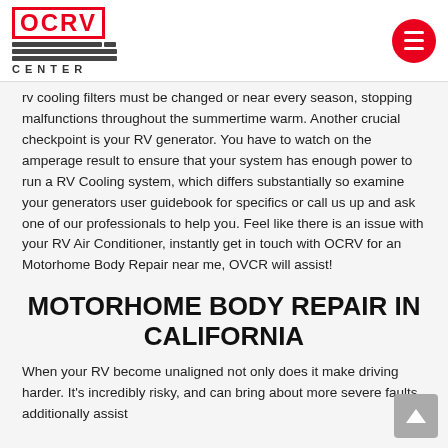OCRV CENTER
rv cooling filters must be changed or near every season, stopping malfunctions throughout the summertime warm. Another crucial checkpoint is your RV generator. You have to watch on the amperage result to ensure that your system has enough power to run a RV Cooling system, which differs substantially so examine your generators user guidebook for specifics or call us up and ask one of our professionals to help you. Feel like there is an issue with your RV Air Conditioner, instantly get in touch with OCRV for an Motorhome Body Repair near me, OVCR will assist!
MOTORHOME BODY REPAIR IN CALIFORNIA
When your RV become unaligned not only does it make driving harder. It's incredibly risky, and can bring about more severe faults additionally assist...